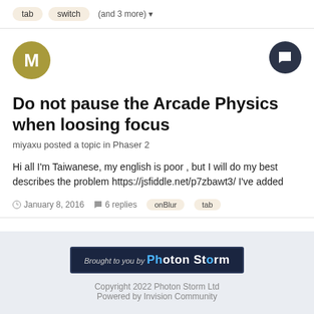tab  switch  (and 3 more)
[Figure (other): User avatar circle with letter M in olive/gold color]
[Figure (other): Chat/comment icon circle in dark navy color]
Do not pause the Arcade Physics when loosing focus
miyaxu posted a topic in Phaser 2
Hi all I'm Taiwanese, my english is poor , but I will do my best describes the problem https://jsfiddle.net/p7zbawt3/ I've added
January 8, 2016   6 replies   onBlur   tab
[Figure (logo): Brought to you by Photon Storm banner logo on dark background]
Copyright 2022 Photon Storm Ltd
Powered by Invision Community